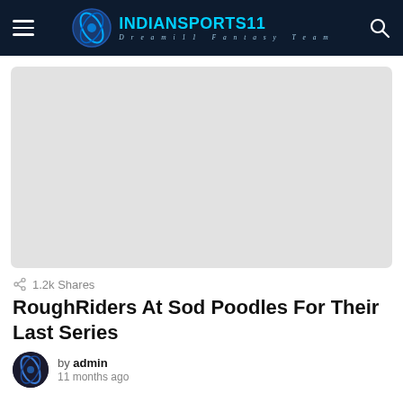INDIANSPORTS11 Dreami11 Fantasy Team
[Figure (photo): Featured article image placeholder, light gray rectangle]
1.2k Shares
RoughRiders At Sod Poodles For Their Last Series
by admin
11 months ago